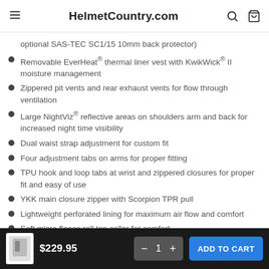HelmetCountry.com
optional SAS-TEC SC1/15 10mm back protector)
Removable EverHeat® thermal liner vest with KwikWick® II moisture management
Zippered pit vents and rear exhaust vents for flow through ventilation
Large NightViz® reflective areas on shoulders arm and back for increased night time visibility
Dual waist strap adjustment for custom fit
Four adjustment tabs on arms for proper fitting
TPU hook and loop tabs at wrist and zippered closures for proper fit and easy of use
YKK main closure zipper with Scorpion TPR pull
Lightweight perforated lining for maximum air flow and comfort
Soft micro fleece roll top collar for comfort
8″ #5 YKK zipper works with Scorpion Trey of Scorpion Drafter II
$229.95  −  1  +  ADD TO CART